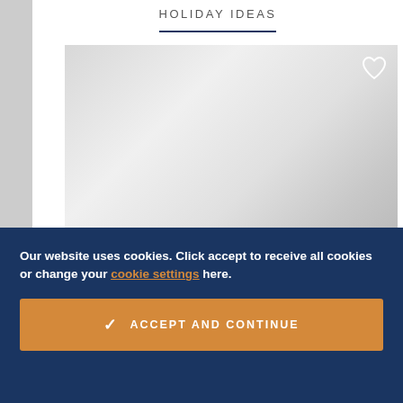HOLIDAY IDEAS
[Figure (photo): Placeholder image area with gradient gray background and a heart/favorite icon in the top right corner]
Classic Uganda
Our website uses cookies. Click accept to receive all cookies or change your cookie settings here.
✓ ACCEPT AND CONTINUE